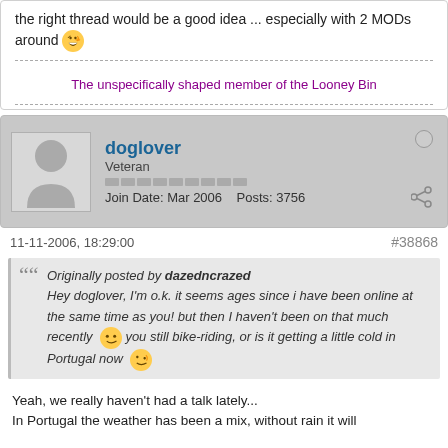the right thread would be a good idea ... especially with 2 MODs around 😜
The unspecifically shaped member of the Looney Bin
doglover
Veteran
Join Date: Mar 2006   Posts: 3756
11-11-2006, 18:29:00
#38868
Originally posted by dazedncrazed
Hey doglover, I'm o.k. it seems ages since i have been online at the same time as you! but then I haven't been on that much recently 😊 you still bike-riding, or is it getting a little cold in Portugal now 😉
Yeah, we really haven't had a talk lately...